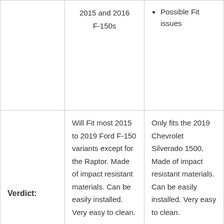|  | Column 2 | Column 3 |
| --- | --- | --- |
|  | 2015 and 2016 F-150s | Possible Fit issues |
| Verdict: | Will Fit most 2015 to 2019 Ford F-150 variants except for the Raptor. Made of impact resistant materials. Can be easily installed. Very easy to clean. | Only fits the 2019 Chevrolet Silverado 1500, Made of impact resistant materials. Can be easily installed. Very easy to clean. |